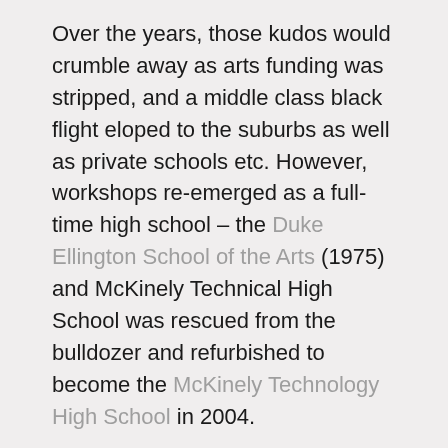Over the years, those kudos would crumble away as arts funding was stripped, and a middle class black flight eloped to the suburbs as well as private schools etc. However, workshops re-emerged as a full-time high school – the Duke Ellington School of the Arts (1975) and McKinely Technical High School was rescued from the bulldozer and refurbished to become the McKinely Technology High School in 2004.
All that to say, that's the difference between McKinley DC and McKinley Lima, OH. McKinley DC (and Ellington) you didn't have to explain yourself to anybody.